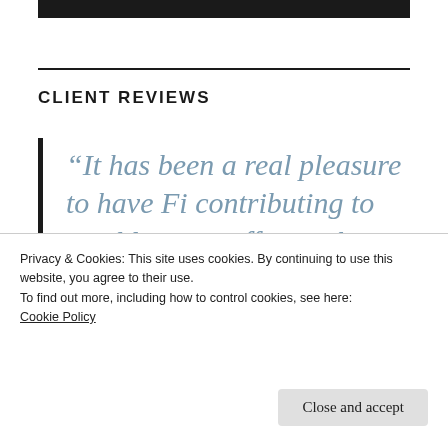CLIENT REVIEWS
“It has been a real pleasure to have Fi contributing to our blogging efforts. She has excellent writing skills, is
Privacy & Cookies: This site uses cookies. By continuing to use this website, you agree to their use.
To find out more, including how to control cookies, see here:
Cookie Policy
Close and accept